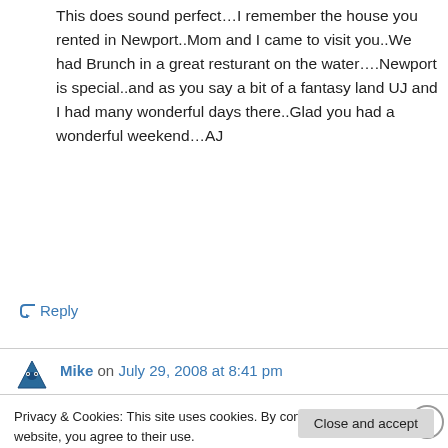This does sound perfect…I remember the house you rented in Newport..Mom and I came to visit you..We had Brunch in a great resturant on the water….Newport is special..and as you say a bit of a fantasy land UJ and I had many wonderful days there..Glad you had a wonderful weekend…AJ
↵ Reply
Mike on July 29, 2008 at 8:41 pm
Privacy & Cookies: This site uses cookies. By continuing to use this website, you agree to their use.
To find out more, including how to control cookies, see here: Cookie Policy